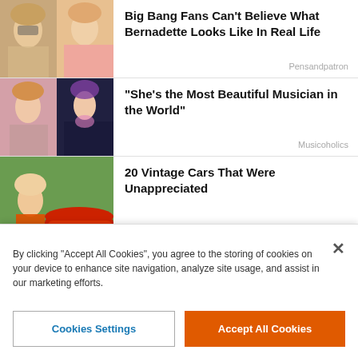[Figure (photo): Two blonde women — one with glasses, one in pink — thumbnail collage]
Big Bang Fans Can't Believe What Bernadette Looks Like In Real Life
Pensandpatron
[Figure (photo): Two female musicians performing — thumbnail collage]
"She's the Most Beautiful Musician in the World"
Musicoholics
[Figure (photo): Woman in orange top next to a red vintage car]
20 Vintage Cars That Were Unappreciated
Drivepedia
[Figure (photo): Blonde woman and older man — Rodney Dangerfield collage]
One-Liners of Rodney Dangerfield That Went Too Far
Freshedits
[Figure (photo): Two women with dark curly hair — JAG actress collage]
Remember Mac From JAG? This Is Her Now
By clicking "Accept All Cookies", you agree to the storing of cookies on your device to enhance site navigation, analyze site usage, and assist in our marketing efforts.
Cookies Settings
Accept All Cookies